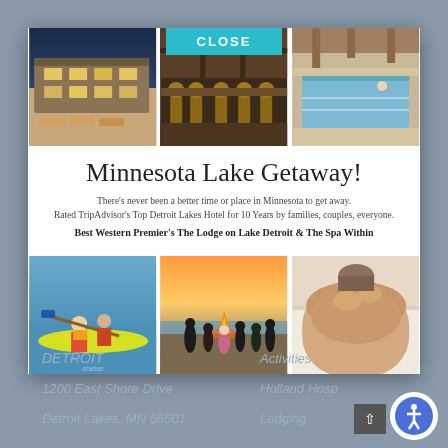[Figure (photo): Modal popup showing Minnesota Lake Getaway hotel advertisement with 6 photos arranged in two rows of three]
Minnesota Lake Getaway!
There's never been a better time or place in Minnesota to get away. Rated TripAdvisor's Top Detroit Lakes Hotel for 10 Years by families, couples, everyone.
Best Western Premier's The Lodge on Lake Detroit & The Spa Within
DETROIT
1200 East Shore Drive
Detroit Lakes, MN 56501
Activities
Holland Hosp
Lodging